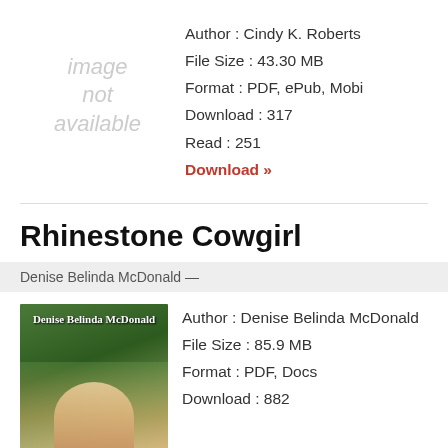[Figure (illustration): Image not available placeholder]
Author : Cindy K. Roberts
File Size : 43.30 MB
Format : PDF, ePub, Mobi
Download : 317
Read : 251
Download »
Rhinestone Cowgirl
Denise Belinda McDonald —
[Figure (photo): Book cover of Rhinestone Cowgirl by Denise Belinda McDonald, showing a couple embracing outdoors]
Author : Denise Belinda McDonald
File Size : 85.9 MB
Format : PDF, Docs
Download : 882